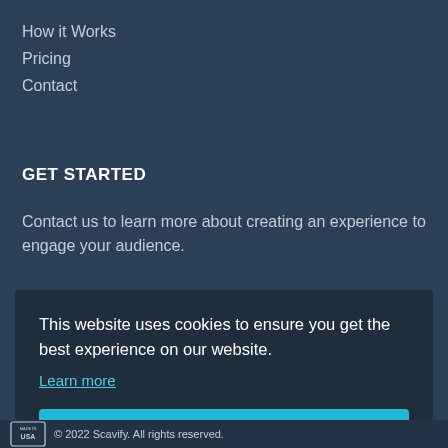How it Works
Pricing
Contact
GET STARTED
Contact us to learn more about creating an experience to engage your audience.
This website uses cookies to ensure you get the best experience on our website.
Learn more
Got it!
© 2022 Scavify. All rights reserved.